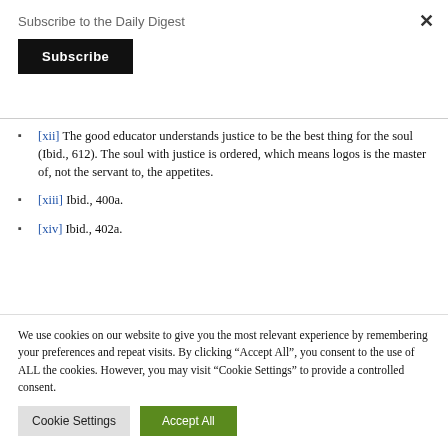Subscribe to the Daily Digest
[xii] The good educator understands justice to be the best thing for the soul (Ibid., 612). The soul with justice is ordered, which means logos is the master of, not the servant to, the appetites.
[xiii] Ibid., 400a.
[xiv] Ibid., 402a.
We use cookies on our website to give you the most relevant experience by remembering your preferences and repeat visits. By clicking “Accept All”, you consent to the use of ALL the cookies. However, you may visit "Cookie Settings" to provide a controlled consent.